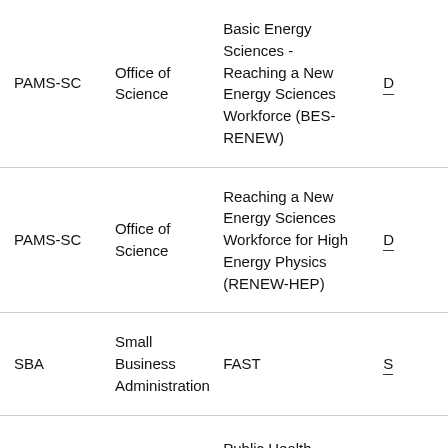|  |  |  |  |
| --- | --- | --- | --- |
| PAMS-SC | Office of Science | Basic Energy Sciences - Reaching a New Energy Sciences Workforce (BES-RENEW) | D |
| PAMS-SC | Office of Science | Reaching a New Energy Sciences Workforce for High Energy Physics (RENEW-HEP) | D |
| SBA | Small Business Administration | FAST | S |
|  |  | Public Health |  |